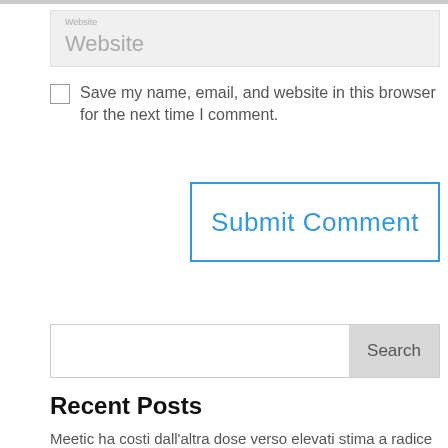[Figure (screenshot): Website input field with placeholder text 'Website' on a gray background]
Save my name, email, and website in this browser for the next time I comment.
[Figure (screenshot): Submit Comment button with blue border and blue text]
[Figure (screenshot): Search input field with Search button on the right]
Recent Posts
Meetic ha costi dall'altra dose verso elevati stima a radice di Bad , pero mediante virtu di codesto offre